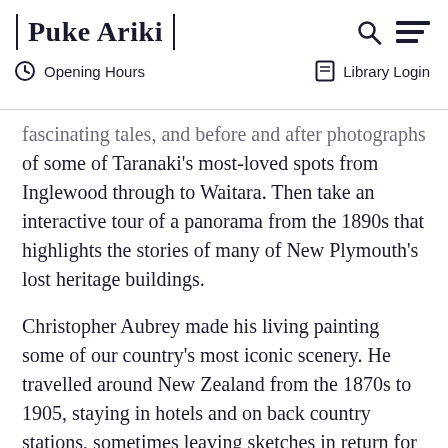Puke Ariki | Opening Hours | Library Login
fascinating tales, and before and after photographs of some of Taranaki's most-loved spots from Inglewood through to Waitara. Then take an interactive tour of a panorama from the 1890s that highlights the stories of many of New Plymouth's lost heritage buildings.
Christopher Aubrey made his living painting some of our country's most iconic scenery. He travelled around New Zealand from the 1870s to 1905, staying in hotels and on back country stations, sometimes leaving sketches in return for hospitality. Very little is known about the man himself. His signed and dated paintings give the